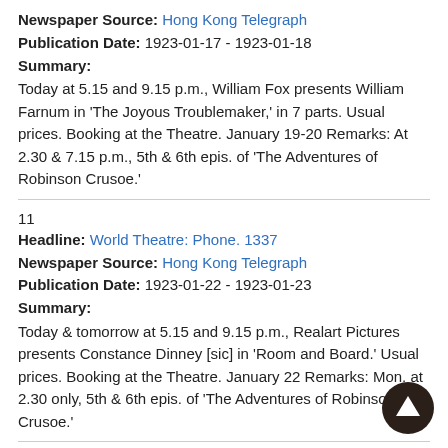Newspaper Source: Hong Kong Telegraph
Publication Date: 1923-01-17 - 1923-01-18
Summary:
Today at 5.15 and 9.15 p.m., William Fox presents William Farnum in ‘The Joyous Troublemaker,’ in 7 parts. Usual prices. Booking at the Theatre. January 19-20 Remarks: At 2.30 & 7.15 p.m., 5th & 6th epis. of ‘The Adventures of Robinson Crusoe.’
11
Headline: World Theatre: Phone. 1337
Newspaper Source: Hong Kong Telegraph
Publication Date: 1923-01-22 - 1923-01-23
Summary:
Today & tomorrow at 5.15 and 9.15 p.m., Realart Pictures presents Constance Dinney [sic] in ‘Room and Board.’ Usual prices. Booking at the Theatre. January 22 Remarks: Mon. at 2.30 only, 5th & 6th epis. of ‘The Adventures of Robinson Crusoe.’
12
Headline: World Theatre: Phone. 1337
Newspaper Source: Hong Kong Telegraph